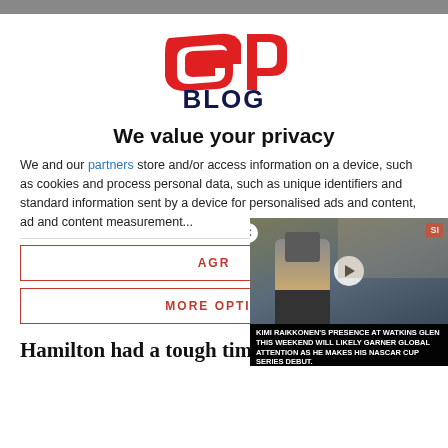[Figure (logo): GP Blog logo with red stylized 'GP' letters and dark blue 'BLOG' text]
We value your privacy
We and our partners store and/or access information on a device, such as cookies and process personal data, such as unique identifiers and standard information sent by a device for personalised ads and content, ad and content measurement...
AGREE
MORE OPTIONS
[Figure (photo): Video thumbnail showing a racing driver at a circuit, with SI badge and caption: KIMI RAIKKONEN'S PRESENCE AT WATKINS GLEN THIS WEEKEND WILL LIKELY GARNER GLOBAL ATTENTION AS HE MAKES HIS NASCAR CUP SERIES DEBUT.]
Hamilton had a tough time in Barcelona